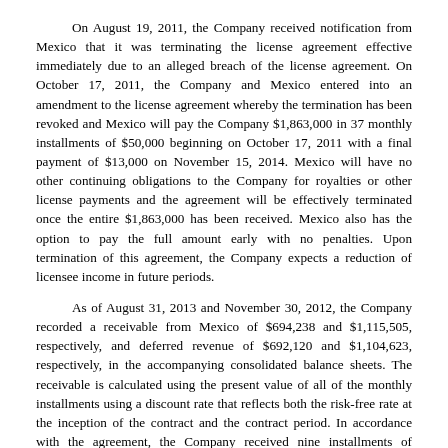On August 19, 2011, the Company received notification from Mexico that it was terminating the license agreement effective immediately due to an alleged breach of the license agreement. On October 17, 2011, the Company and Mexico entered into an amendment to the license agreement whereby the termination has been revoked and Mexico will pay the Company $1,863,000 in 37 monthly installments of $50,000 beginning on October 17, 2011 with a final payment of $13,000 on November 15, 2014. Mexico will have no other continuing obligations to the Company for royalties or other license payments and the agreement will be effectively terminated once the entire $1,863,000 has been received. Mexico also has the option to pay the full amount early with no penalties. Upon termination of this agreement, the Company expects a reduction of licensee income in future periods.
As of August 31, 2013 and November 30, 2012, the Company recorded a receivable from Mexico of $694,238 and $1,115,505, respectively, and deferred revenue of $692,120 and $1,104,623, respectively, in the accompanying consolidated balance sheets. The receivable is calculated using the present value of all of the monthly installments using a discount rate that reflects both the risk-free rate at the inception of the contract and the contract period. In accordance with the agreement, the Company received nine installments of $50,000 during the nine months ended August 31, 2013 and August 31, 2012, which is reflected in the consolidated statement of operations as of August 31, 2013 and August 31, 2012 as licensee and other income. The installment amounts that are to be received and recognized within the next twelve months have been classified as short-term as Accounts Receivable in the accompanying consolidated balance sheets.
Marketing Agreements